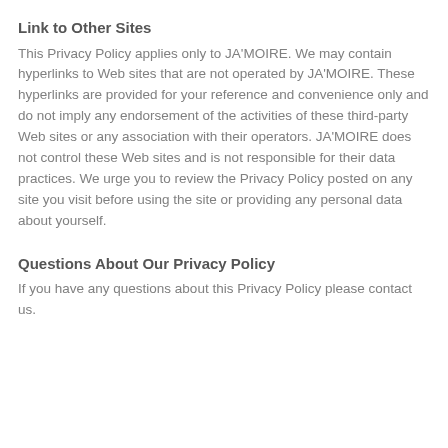Link to Other Sites
This Privacy Policy applies only to JA'MOIRE. We may contain hyperlinks to Web sites that are not operated by JA'MOIRE. These hyperlinks are provided for your reference and convenience only and do not imply any endorsement of the activities of these third-party Web sites or any association with their operators. JA'MOIRE does not control these Web sites and is not responsible for their data practices. We urge you to review the Privacy Policy posted on any site you visit before using the site or providing any personal data about yourself.
Questions About Our Privacy Policy
If you have any questions about this Privacy Policy please contact us.